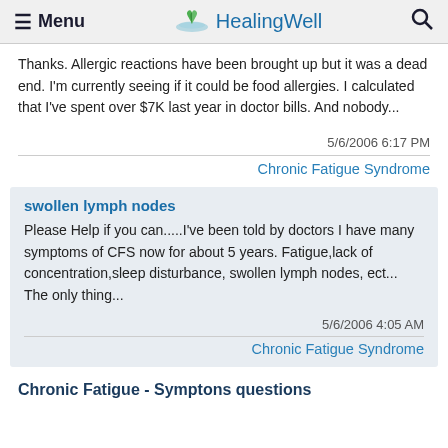☰ Menu   HealingWell   🔍
Thanks. Allergic reactions have been brought up but it was a dead end. I'm currently seeing if it could be food allergies. I calculated that I've spent over $7K last year in doctor bills. And nobody...
5/6/2006 6:17 PM
Chronic Fatigue Syndrome
swollen lymph nodes
Please Help if you can.....I've been told by doctors I have many symptoms of CFS now for about 5 years. Fatigue,lack of concentration,sleep disturbance, swollen lymph nodes, ect... The only thing...
5/6/2006 4:05 AM
Chronic Fatigue Syndrome
Chronic Fatigue - Symptons questions